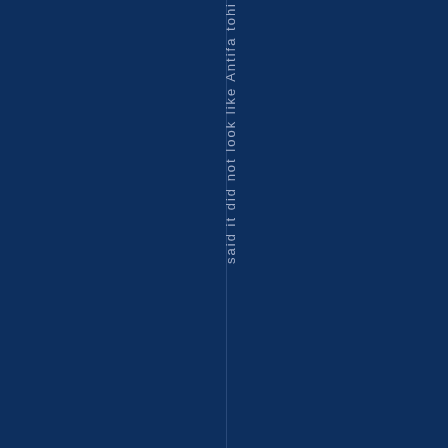said it did not look like Antifa tohi